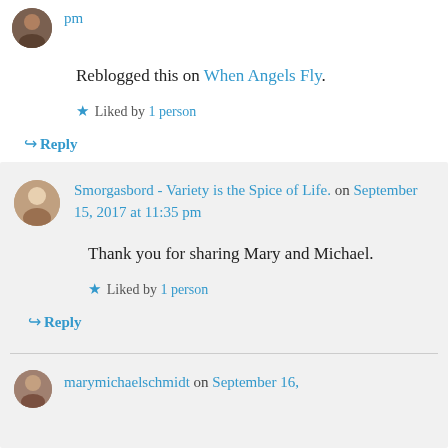pm
Reblogged this on When Angels Fly.
★ Liked by 1 person
↳ Reply
Smorgasbord - Variety is the Spice of Life. on September 15, 2017 at 11:35 pm
Thank you for sharing Mary and Michael.
★ Liked by 1 person
↳ Reply
marymichaelschmidt on September 16,